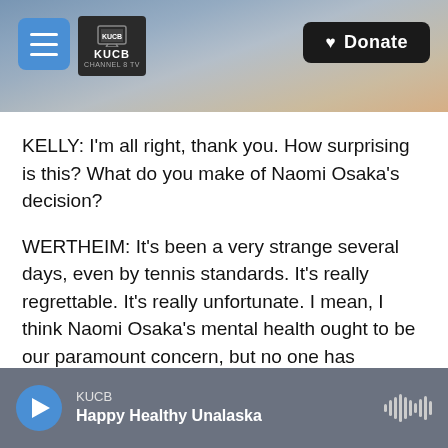[Figure (screenshot): KUCB radio website header banner with mountain/snowy landscape background, hamburger menu button, KUCB Channel 8 TV logo, and Donate button]
KELLY: I'm all right, thank you. How surprising is this? What do you make of Naomi Osaka's decision?
WERTHEIM: It's been a very strange several days, even by tennis standards. It's really regrettable. It's really unfortunate. I mean, I think Naomi Osaka's mental health ought to be our paramount concern, but no one has covered themselves in glory here. This was a situation that escalated quickly and didn't have to. This has been a big surprise. I mean, Roger Federer played today. Serena Williams
KUCB Happy Healthy Unalaska